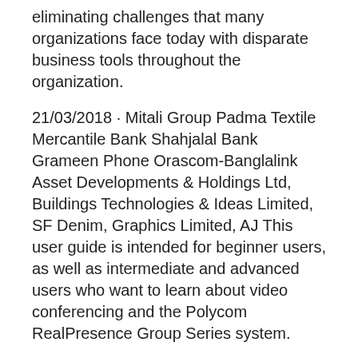eliminating challenges that many organizations face today with disparate business tools throughout the organization.
21/03/2018 · Mitali Group Padma Textile Mercantile Bank Shahjalal Bank Grameen Phone Orascom-Banglalink Asset Developments & Holdings Ltd, Buildings Technologies & Ideas Limited, SF Denim, Graphics Limited, AJ This user guide is intended for beginner users, as well as intermediate and advanced users who want to learn about video conferencing and the Polycom RealPresence Group Series system.